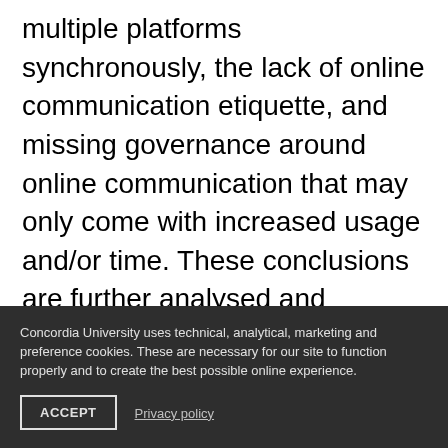multiple platforms synchronously, the lack of online communication etiquette, and missing governance around online communication that may only come with increased usage and/or time. These conclusions are further analysed and recommendations for organizations and employers are provided.
Concordia University uses technical, analytical, marketing and preference cookies. These are necessary for our site to function properly and to create the best possible online experience.
ACCEPT
Privacy policy